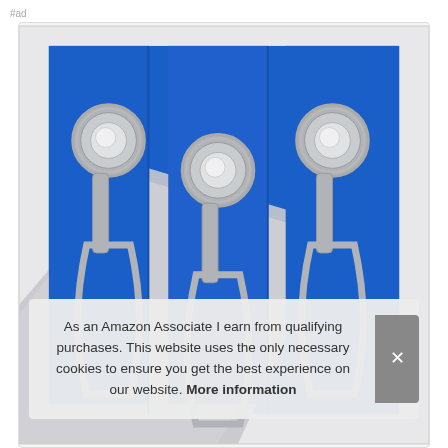#ad
[Figure (photo): Three stainless steel ice cream scoops with spring-loaded mechanisms, displayed in a blue velvet-lined silver gift box, viewed from above with the box lid partially open.]
As an Amazon Associate I earn from qualifying purchases. This website uses the only necessary cookies to ensure you get the best experience on our website. More information